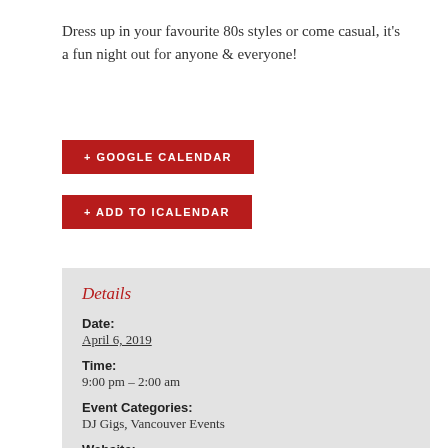Dress up in your favourite 80s styles or come casual, it’s a fun night out for anyone & everyone!
+ GOOGLE CALENDAR
+ ADD TO ICALENDAR
Details
Date: April 6, 2019
Time: 9:00 pm – 2:00 am
Event Categories: DJ Gigs, Vancouver Events
Website: https://www.facebook.com/events/19703736732665…